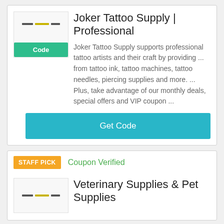[Figure (screenshot): Joker Tattoo Supply logo box with horizontal lines and a green 'Code' button below]
Joker Tattoo Supply | Professional
Joker Tattoo Supply supports professional tattoo artists and their craft by providing ... from tattoo ink, tattoo machines, tattoo needles, piercing supplies and more. ... Plus, take advantage of our monthly deals, special offers and VIP coupon ...
Get Code
STAFF PICK
Coupon Verified
[Figure (screenshot): Veterinary Supplies logo box with horizontal lines]
Veterinary Supplies & Pet Supplies